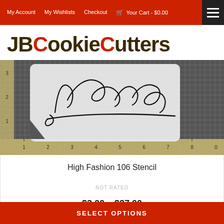My Account  My Wishlists  Checkout  Your Cart - $0.00
JBCookieCutters
[Figure (photo): Photo of a Louboutin stencil on a grid cutting mat with ruler markings showing inches 1 through 8. The stencil is white/grey with a cursive 'Louboutin' signature cut-out design.]
High Fashion 106 Stencil
NOT RATED
$3.00 – $27.00
SELECT OPTIONS